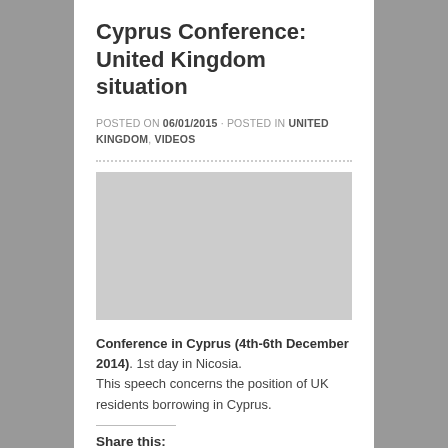Cyprus Conference: United Kingdom situation
POSTED ON 06/01/2015 · POSTED IN UNITED KINGDOM, VIDEOS
[Figure (screenshot): Dotted horizontal divider line followed by a grey video placeholder block]
Conference in Cyprus (4th-6th December 2014). 1st day in Nicosia. This speech concerns the position of UK residents borrowing in Cyprus.
Share this: